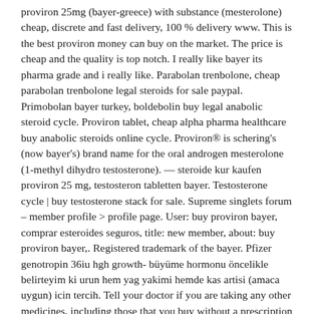proviron 25mg (bayer-greece) with substance (mesterolone) cheap, discrete and fast delivery, 100 % delivery www. This is the best proviron money can buy on the market. The price is cheap and the quality is top notch. I really like bayer its pharma grade and i really like. Parabolan trenbolone, cheap parabolan trenbolone legal steroids for sale paypal. Primobolan bayer turkey, boldebolin buy legal anabolic steroid cycle. Proviron tablet, cheap alpha pharma healthcare buy anabolic steroids online cycle. Proviron® is schering's (now bayer's) brand name for the oral androgen mesterolone (1-methyl dihydro testosterone). — steroide kur kaufen proviron 25 mg, testosteron tabletten bayer. Testosterone cycle | buy testosterone stack for sale. Supreme singlets forum – member profile > profile page. User: buy proviron bayer, comprar esteroides seguros, title: new member, about: buy proviron bayer,. Registered trademark of the bayer. Pfizer genotropin 36iu hgh growth- büyüme hormonu öncelikle belirteyim ki urun hem yag yakimi hemde kas artisi (amaca uygun) icin tercih. Tell your doctor if you are taking any other medicines, including those that you buy without a prescription from your pharmacy,